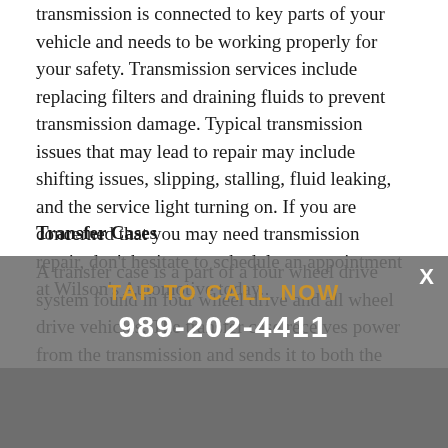transmission is connected to key parts of your vehicle and needs to be working properly for your safety. Transmission services include replacing filters and draining fluids to prevent transmission damage. Typical transmission issues that may lead to repair may include shifting issues, slipping, stalling, fluid leaking, and the service light turning on. If you are concerned that you may need transmission repair, don't hesitate to schedule an appointment at Wilson's Automotive today.
Transfer Cases
A transfer case is a part of a four wheel drive system found in four wheel drive and all wheel drive vehicles. The transfer case receives power from the transmission and sends it to both the front and rear axles. This can be done with a set of gears, but the majority of transfer cases manufactured today are chain driven. The transfer case is connected to the transmission and also to the front and rear axles by means of drive shafts.Trust the automotive experts at Wilson's Automotive for all your transmission repairs.
TAP TO CALL NOW
989-202-4411